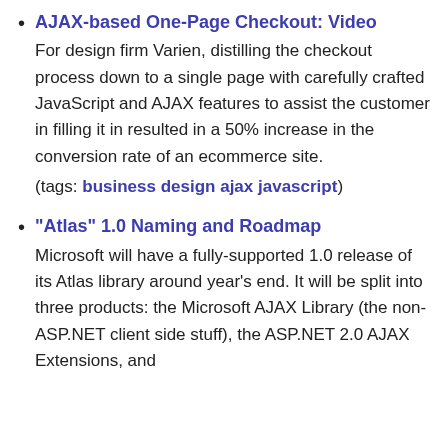AJAX-based One-Page Checkout: Video
For design firm Varien, distilling the checkout process down to a single page with carefully crafted JavaScript and AJAX features to assist the customer in filling it in resulted in a 50% increase in the conversion rate of an ecommerce site.
(tags: business design ajax javascript)
"Atlas" 1.0 Naming and Roadmap
Microsoft will have a fully-supported 1.0 release of its Atlas library around year's end. It will be split into three products: the Microsoft AJAX Library (the non-ASP.NET client side stuff), the ASP.NET 2.0 AJAX Extensions, and